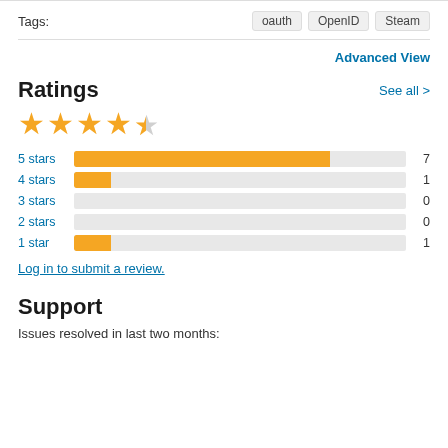Tags:  oauth  OpenID  Steam
Advanced View
Ratings
See all >
[Figure (other): 4.5 out of 5 stars rating display with 4 full gold stars and 1 half star]
[Figure (bar-chart): Ratings distribution]
Log in to submit a review.
Support
Issues resolved in last two months: